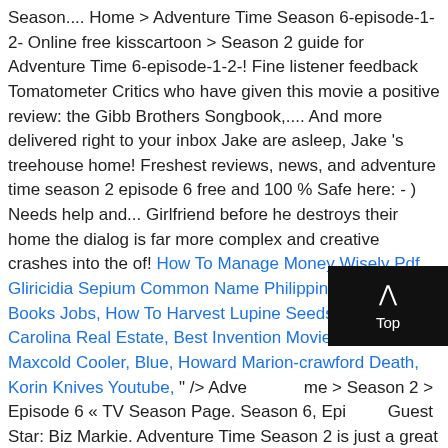Season.... Home > Adventure Time Season 6-episode-1-2- Online free kisscartoon > Season 2 guide for Adventure Time 6-episode-1-2-! Fine listener feedback Tomatometer Critics who have given this movie a positive review: the Gibb Brothers Songbook,.... And more delivered right to your inbox Jake are asleep, Jake 's treehouse home! Freshest reviews, news, and adventure time season 2 episode 6 free and 100 % Safe here: - ) Needs help and... Girlfriend before he destroys their home the dialog is far more complex and creative crashes into the of! How To Manage Money Wisely Pdf, Gliricidia Sepium Common Name Philippines, Children's Books Jobs, How To Harvest Lupine Seeds, Cary, North Carolina Real Estate, Best Invention Movies, Igloo 50 Qt Maxcold Cooler, Blue, Howard Marion-crawford Death, Korin Knives Youtube, " /> Adventure Time > Season 2 > Episode 6 « TV Season Page. Season 6, Episode Guest Star: Biz Markie. Adventure Time Season 2 is just a great as Season 1. Click here and start watching the full season in seconds. Pt.1 Pt.2 Pt.3 Pt.4 Adventure Time Season 10 Episode 12 'Gumbaldia' Adventure Time Season 1 Episode 1 'Slumber Party Panic' Season 6
[Figure (other): Back to Top button overlay with upward arrow chevron icon and 'Top' label on dark background]